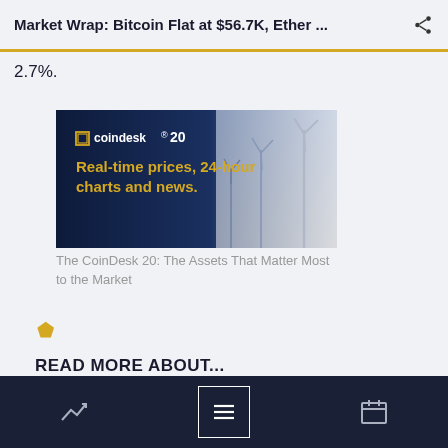Market Wrap: Bitcoin Flat at $56.7K, Ether ...
2.7%.
[Figure (photo): CoinDesk 20 advertisement banner with wind turbines and text: 'Real-time prices, 24-hour charts and news.']
The CoinDesk 20: The Assets That Matter Most to the Market
READ MORE ABOUT...
Equities
Dogecoin
OMG Network